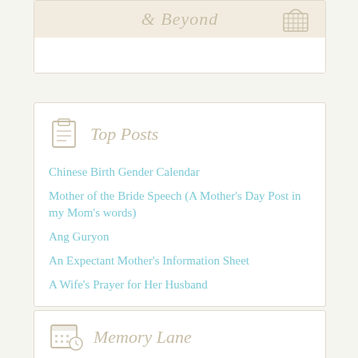[Figure (illustration): Top card with decorative text '& Beyond' in italic tan/gold script on a cream background, with a woven basket icon on the right.]
Top Posts
Chinese Birth Gender Calendar
Mother of the Bride Speech (A Mother's Day Post in my Mom's words)
Ang Guryon
An Expectant Mother's Information Sheet
A Wife's Prayer for Her Husband
Memory Lane